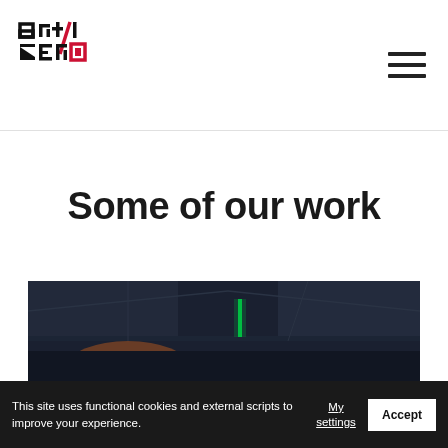[Figure (logo): Art/Zero1 logo — stylized text 'art' and 'zero' with a diagonal slash and red square element, black and red colors]
[Figure (other): Hamburger menu icon — three horizontal black bars]
Some of our work
[Figure (photo): Dark photograph of an indoor space with green lighting strip visible on ceiling, architectural interior]
This site uses functional cookies and external scripts to improve your experience.
My settings
Accept